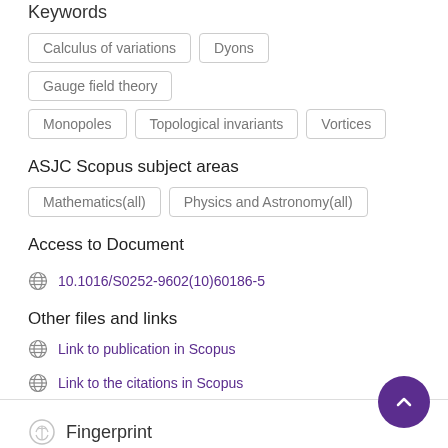Keywords
Calculus of variations
Dyons
Gauge field theory
Monopoles
Topological invariants
Vortices
ASJC Scopus subject areas
Mathematics(all)
Physics and Astronomy(all)
Access to Document
10.1016/S0252-9602(10)60186-5
Other files and links
Link to publication in Scopus
Link to the citations in Scopus
Fingerprint